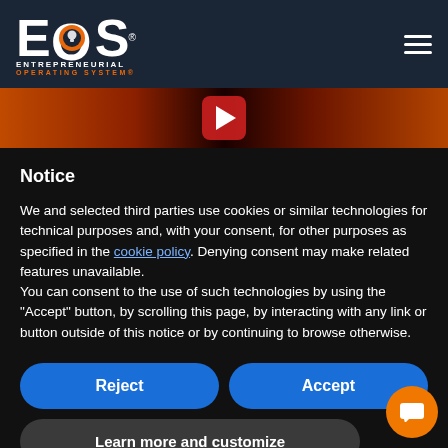[Figure (logo): EOS Entrepreneurial Operating System logo — white letters EOS with orange/dark circle in O, on dark navy background. Hamburger menu icon top right.]
[Figure (screenshot): Video thumbnail strip with YouTube play button in center, showing warm orange/brown tones.]
Notice
We and selected third parties use cookies or similar technologies for technical purposes and, with your consent, for other purposes as specified in the cookie policy. Denying consent may make related features unavailable.
You can consent to the use of such technologies by using the "Accept" button, by scrolling this page, by interacting with any link or button outside of this notice or by continuing to browse otherwise.
Reject
Accept
Learn more and customize